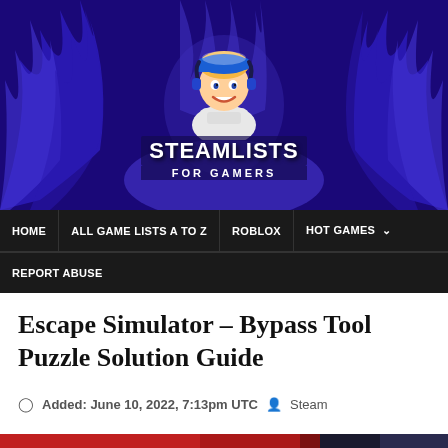[Figure (illustration): SteamLists For Gamers website header banner with animated character mascot (boy with blue cap and headphones) against blue flame background, with 'STEAMLISTS FOR GAMERS' logo text]
HOME | ALL GAME LISTS A TO Z | ROBLOX | HOT GAMES | REPORT ABUSE
Escape Simulator – Bypass Tool Puzzle Solution Guide
Added: June 10, 2022, 7:13pm UTC  Steam
[Figure (screenshot): Partial screenshot of Escape Simulator game showing dark red background with game objects]